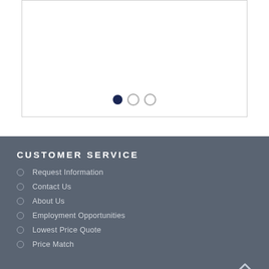[Figure (screenshot): White carousel/slider area with a border, showing three pagination dots at the bottom center. The first dot is filled dark navy, the other two are empty circles.]
CUSTOMER SERVICE
Request Information
Contact Us
About Us
Employment Opportunities
Lowest Price Quote
Price Match